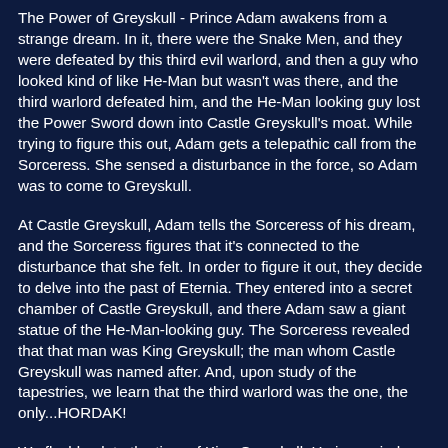The Power of Greyskull - Prince Adam awakens from a strange dream. In it, there were the Snake Men, and they were defeated by this third evil warlord, and then a guy who looked kind of like He-Man but wasn't was there, and the third warlord defeated him, and the He-Man looking guy lost the Power Sword down into Castle Greyskull's moat. While trying to figure this out, Adam gets a telepathic call from the Sorceress. She sensed a disturbance in the force, so Adam was to come to Greyskull.
At Castle Greyskull, Adam tells the Sorceress of his dream, and the Sorceress figures that it's connected to the disturbance that she felt. In order to figure it out, they decide to delve into the past of Eternia. They entered into a secret chamber of Castle Greyskull, and there Adam saw a giant statue of the He-Man-looking guy. The Sorceress revealed that that man was King Greyskull; the man whom Castle Greyskull was named after. And, upon study of the tapestries, we learn that the third warlord was the one, the only...HORDAK!
We flashback to the time of King Greyskull. He is worried. He is worrying about his kingdom because there is a great...